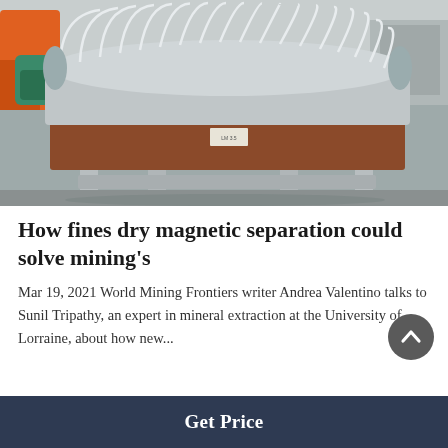[Figure (photo): Industrial dry magnetic separator machine — a large rectangular trough on a metal frame with a cylindrical drum fitted with white radial fins/ribs on top, photographed outdoors in an industrial yard with orange equipment visible in background.]
How fines dry magnetic separation could solve mining's
Mar 19, 2021 World Mining Frontiers writer Andrea Valentino talks to Sunil Tripathy, an expert in mineral extraction at the University of Lorraine, about how new...
Get Price